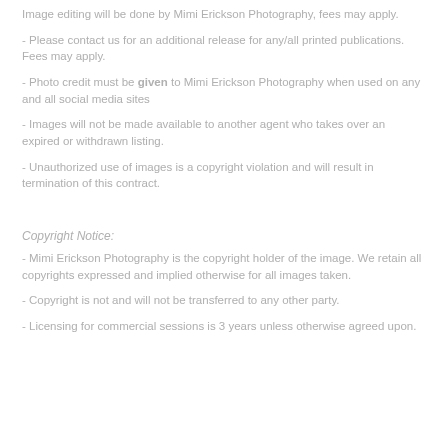Image editing will be done by Mimi Erickson Photography, fees may apply.
- Please contact us for an additional release for any/all printed publications. Fees may apply.
- Photo credit must be given to Mimi Erickson Photography when used on any and all social media sites
- Images will not be made available to another agent who takes over an expired or withdrawn listing.
- Unauthorized use of images is a copyright violation and will result in termination of this contract.
Copyright Notice:
- Mimi Erickson Photography is the copyright holder of the image. We retain all copyrights expressed and implied otherwise for all images taken.
- Copyright is not and will not be transferred to any other party.
- Licensing for commercial sessions is 3 years unless otherwise agreed upon.